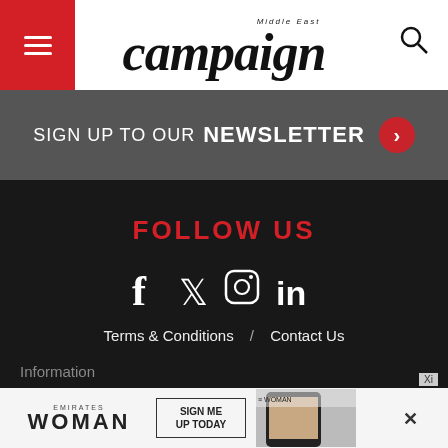campaign Middle East
SIGN UP TO OUR NEWSLETTER
FOLLOW US
[Figure (infographic): Social media icons: Facebook, Twitter, Instagram, LinkedIn in white on dark background]
Terms & Conditions / Contact Us
Information
About
Magazine Archive
Emirates WOMAN — SIGN ME UP TODAY advertisement banner with phone image